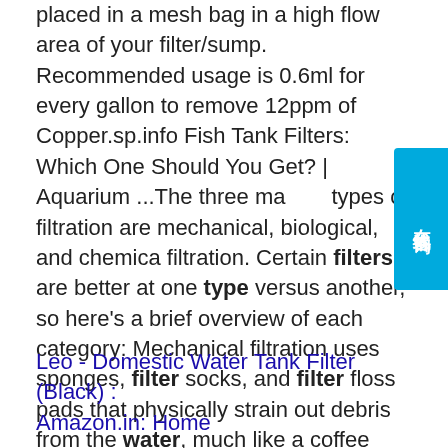placed in a mesh bag in a high flow area of your filter/sump. Recommended usage is 0.6ml for every gallon to remove 12ppm of Copper.sp.info Fish Tank Filters: Which One Should You Get? | Aquarium ...The three main types of filtration are mechanical, biological, and chemical filtration. Certain filters are better at one type versus another, so here's a brief overview of each category: Mechanical filtration uses sponges, filter socks, and filter floss pads that physically strain out debris from the water, much like a coffee filter. Mechanical filtration acts as a garbage can that collects trash – which means you as the …sp.info High Flow Filtration and Water Removal - Diesel FuelsMaximum Flow capacity is up to 30 GPM for the PF-10HD, 90 GPM for the PF-30HD, and 120 GPM for the PF-40HD Bag Filter Vessels. Cart mounted PF-10HD and PF-30HD models for easy transport are also available. Please follow this link for more Information on ...
Leo - Domestic Water Tank Filter (Black) : Amazon.in: Home